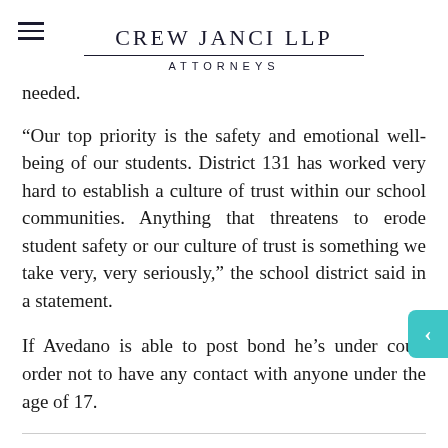CREW JANCI LLP ATTORNEYS
needed.
“Our top priority is the safety and emotional well-being of our students. District 131 has worked very hard to establish a culture of trust within our school communities. Anything that threatens to erode student safety or our culture of trust is something we take very, very seriously,” the school district said in a statement.
If Avedano is able to post bond he’s under court order not to have any contact with anyone under the age of 17.
If you or someone you care about was sexually abused, and you would like advice from our...